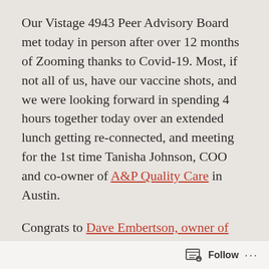Our Vistage 4943 Peer Advisory Board met today in person after over 12 months of Zooming thanks to Covid-19. Most, if not all of us, have our vaccine shots, and we were looking forward in spending 4 hours together today over an extended lunch getting re-connected, and meeting for the 1st time Tanisha Johnson, COO and co-owner of A&P Quality Care in Austin.
Congrats to Dave Embertson, owner of Erling, he's my 9th member with 5 or more years. Paul Meyer, co-owner of Fuse Architecture Studio received his 1st year plaque even though he's finishing his 2nd year in our group.
Follow